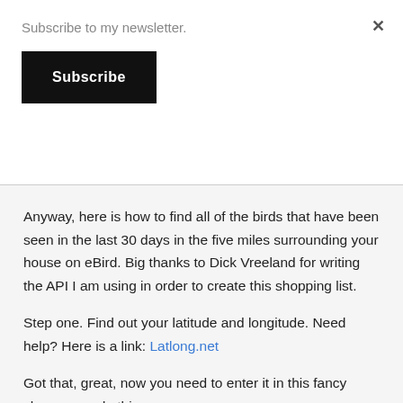Subscribe to my newsletter.
Subscribe
Anyway, here is how to find all of the birds that have been seen in the last 30 days in the five miles surrounding your house on eBird. Big thanks to Dick Vreeland for writing the API I am using in order to create this shopping list.
Step one. Find out your latitude and longitude. Need help? Here is a link: Latlong.net
Got that, great, now you need to enter it in this fancy shmancy code thingy: